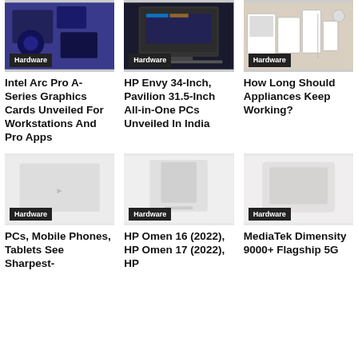[Figure (photo): Gaming hardware/graphics cards on blue background]
Hardware
Intel Arc Pro A-Series Graphics Cards Unveiled For Workstations And Pro Apps
[Figure (photo): Monitor/PC setup on dark background]
Hardware
HP Envy 34-Inch, Pavilion 31.5-Inch All-in-One PCs Unveiled In India
[Figure (photo): Home appliances on beige background]
Hardware
How Long Should Appliances Keep Working?
[Figure (photo): Faded/placeholder image for PCs Mobile Phones article]
Hardware
PCs, Mobile Phones, Tablets See Sharpest-
[Figure (photo): Faded/placeholder image for HP Omen article]
Hardware
HP Omen 16 (2022), HP Omen 17 (2022), HP
[Figure (photo): Faded/placeholder image for MediaTek article]
Hardware
MediaTek Dimensity 9000+ Flagship 5G